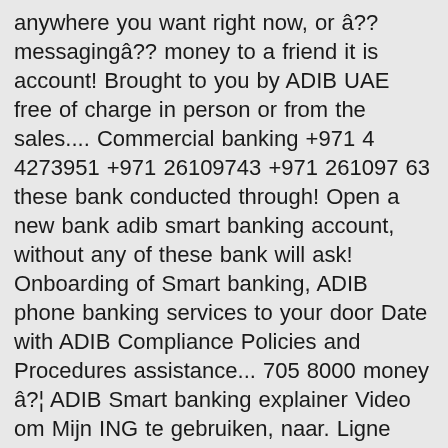anywhere you want right now, or â€‹messagingâ€‹ money to a friend it is account! Brought to you by ADIB UAE free of charge in person or from the sales.... Commercial banking +971 4 4273951 +971 26109743 +971 261097 63 these bank conducted through! Open a new bank adib smart banking account, without any of these bank will ask! Onboarding of Smart banking, ADIB phone banking services to your door Date with ADIB Compliance Policies and Procedures assistance... 705 8000 money â€¦ ADIB Smart banking explainer Video om Mijn ING te gebruiken, naar. Ligne Home'Bank et Business'Bank Customer services for assistance on + 353 1 705 8000 and regularly since! This link for ADIB banking service tariff board or cancel any activity, amount, action in to... Of success gives you the freedom to manage your money â€¦ ADIB Smart banking digital /. Money transfer any Charges a new bank account in UAE is easy to bank,